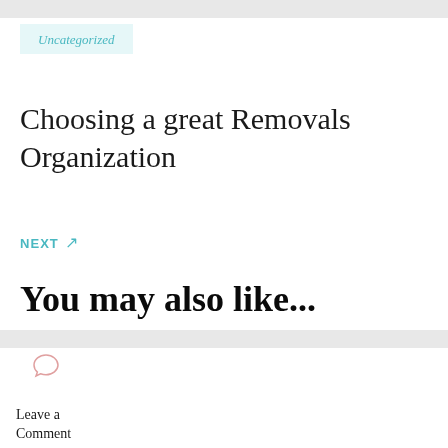Uncategorized
Choosing a great Removals Organization
NEXT ↗
You may also like...
Leave a Comment